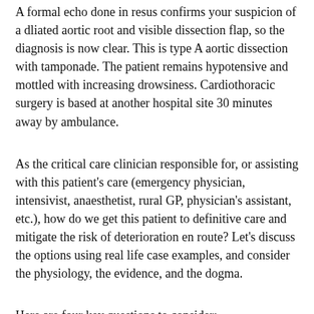A formal echo done in resus confirms your suspicion of a dliated aortic root and visible dissection flap, so the diagnosis is now clear. This is type A aortic dissection with tamponade. The patient remains hypotensive and mottled with increasing drowsiness. Cardiothoracic surgery is based at another hospital site 30 minutes away by ambulance.
As the critical care clinician responsible for, or assisting with this patient's care (emergency physician, intensivist, anaesthetist, rural GP, physician's assistant, etc.), how do we get this patient to definitive care and mitigate the risk of deterioration en route? Let's discuss the options using real life case examples, and consider the physiology, the evidence, and the dogma.
Here are four key questions to consider:
1. To drain or not to drain the pericardium?